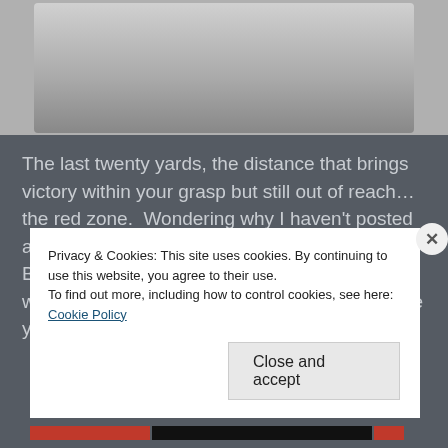[Figure (photo): Partial photo of an object on a gray background, cropped at the top]
The last twenty yards, the distance that brings victory within your grasp but still out of reach… the red zone.  Wondering why I haven't posted about the clinical trial in awhile? Because it's BORING!   We have been knee-deep in a wonderfully welcome routine rut. We started the year with what was probably my best and
Privacy & Cookies: This site uses cookies. By continuing to use this website, you agree to their use.
To find out more, including how to control cookies, see here:
Cookie Policy
Close and accept